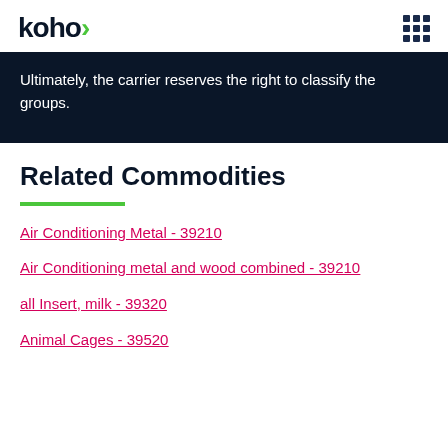koho
Ultimately, the carrier reserves the right to classify the groups.
Related Commodities
Air Conditioning Metal - 39210
Air Conditioning metal and wood combined - 39210
all Insert, milk - 39320
Animal Cages - 39520